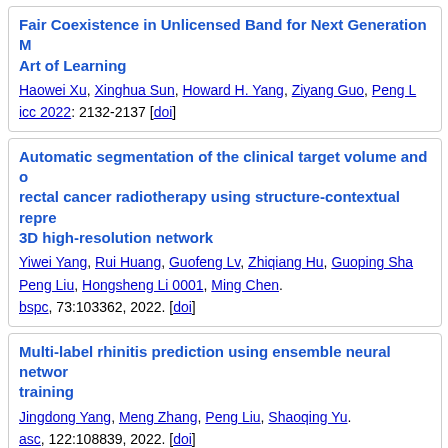Fair Coexistence in Unlicensed Band for Next Generation M... Art of Learning
Haowei Xu, Xinghua Sun, Howard H. Yang, Ziyang Guo, Peng L...
icc 2022: 2132-2137 [doi]
Automatic segmentation of the clinical target volume and o... rectal cancer radiotherapy using structure-contextual repre... 3D high-resolution network
Yiwei Yang, Rui Huang, Guofeng Lv, Zhiqiang Hu, Guoping Sha... Peng Liu, Hongsheng Li 0001, Ming Chen.
bspc, 73:103362, 2022. [doi]
Multi-label rhinitis prediction using ensemble neural networ... training
Jingdong Yang, Meng Zhang, Peng Liu, Shaoqing Yu.
asc, 122:108839, 2022. [doi]
Research on Applicability of Automobile Instruments Chara...